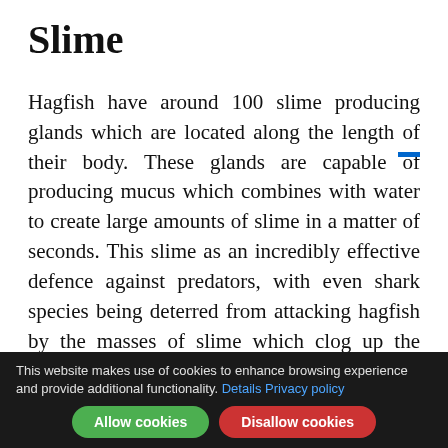Slime
Hagfish have around 100 slime producing glands which are located along the length of their body. These glands are capable of producing mucus which combines with water to create large amounts of slime in a matter of seconds. This slime as an incredibly effective defence against predators, with even shark species being deterred from attacking hagfish by the masses of slime which clog up the attacker's mouth and gills, as the pictures below show.
This website makes use of cookies to enhance browsing experience and provide additional functionality. Details Privacy policy